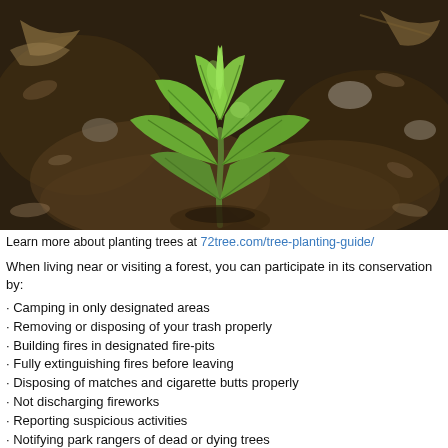[Figure (photo): Close-up photo of a small green seedling/plant sprouting from dark brown soil, with multiple broad green leaves visible against a blurred earthy background.]
Learn more about planting trees at 72tree.com/tree-planting-guide/
When living near or visiting a forest, you can participate in its conservation by:
Camping in only designated areas
Removing or disposing of your trash properly
Building fires in designated fire-pits
Fully extinguishing fires before leaving
Disposing of matches and cigarette butts properly
Not discharging fireworks
Reporting suspicious activities
Notifying park rangers of dead or dying trees
Avoiding all activities that can physically harm trees